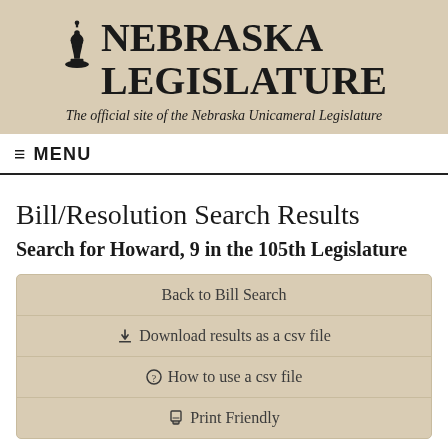NEBRASKA LEGISLATURE
The official site of the Nebraska Unicameral Legislature
≡ MENU
Bill/Resolution Search Results
Search for Howard, 9 in the 105th Legislature
Back to Bill Search
Download results as a csv file
How to use a csv file
Print Friendly